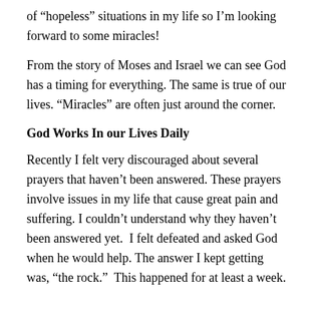of “hopeless” situations in my life so I’m looking forward to some miracles!
From the story of Moses and Israel we can see God has a timing for everything. The same is true of our lives. “Miracles” are often just around the corner.
God Works In our Lives Daily
Recently I felt very discouraged about several prayers that haven’t been answered. These prayers involve issues in my life that cause great pain and suffering. I couldn’t understand why they haven’t been answered yet. I felt defeated and asked God when he would help. The answer I kept getting was, “the rock.” This happened for at least a week.